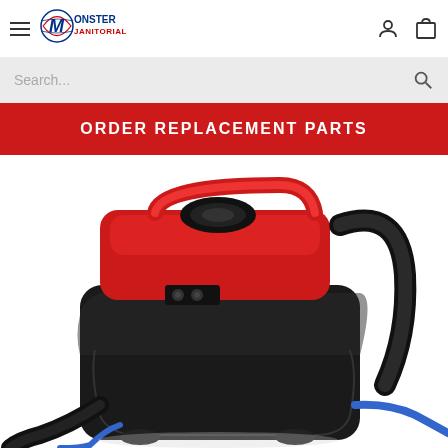Monster Janitorial — navigation header with hamburger menu, logo, account icon, cart icon
Search...
ORDER REPLACEMENT PARTS
[Figure (photo): Red and black portable carpet extractor / spot cleaning machine with a carry handle, hose, and blue tubing visible at the bottom, photographed on a white background.]